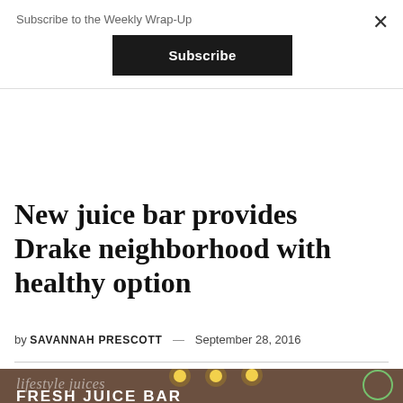Subscribe to the Weekly Wrap-Up
Subscribe
New juice bar provides Drake neighborhood with healthy option
by SAVANNAH PRESCOTT — September 28, 2016
[Figure (photo): Storefront window of Lifestyle Juices Fresh Juice Bar with white script and block lettering on glass, warm overhead lights visible, partial OPEN sign on right edge]